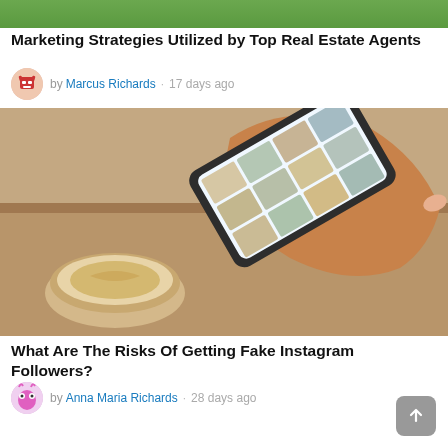[Figure (photo): Green banner/strip at top of page]
Marketing Strategies Utilized by Top Real Estate Agents
by Marcus Richards · 17 days ago
[Figure (photo): Hand holding a smartphone displaying an Instagram-like grid of food photos, with a coffee cup in the background on a wooden table]
What Are The Risks Of Getting Fake Instagram Followers?
by Anna Maria Richards · 28 days ago